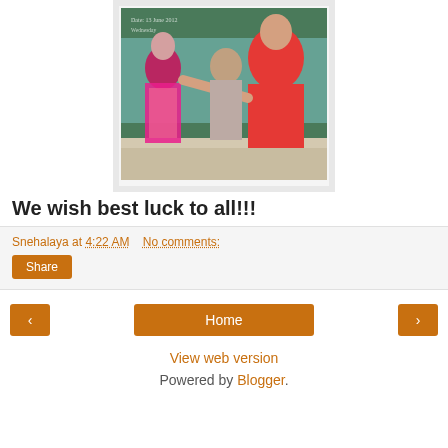[Figure (photo): A classroom scene with three people near a chalkboard. A man in a red polo shirt extends his hand toward a woman in a pink floral dress. Another man stands in the background. The chalkboard has writing including a date.]
We wish best luck to all!!!
Snehalaya at 4:22 AM   No comments:
Share
Home
View web version
Powered by Blogger.